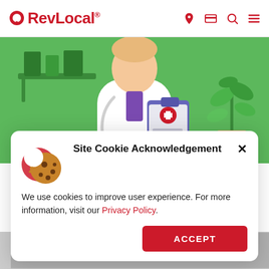RevLocal
[Figure (illustration): Illustration of a doctor in a white coat with stethoscope, holding a clipboard with a red cross, against a green background with shelves of green bottles and a plant.]
Site Cookie Acknowledgement
We use cookies to improve user experience. For more information, visit our Privacy Policy.
ACCEPT